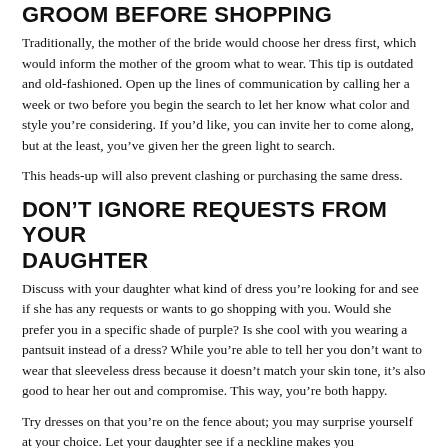GROOM BEFORE SHOPPING
Traditionally, the mother of the bride would choose her dress first, which would inform the mother of the groom what to wear. This tip is outdated and old-fashioned. Open up the lines of communication by calling her a week or two before you begin the search to let her know what color and style you’re considering. If you’d like, you can invite her to come along, but at the least, you’ve given her the green light to search.
This heads-up will also prevent clashing or purchasing the same dress.
DON’T IGNORE REQUESTS FROM YOUR DAUGHTER
Discuss with your daughter what kind of dress you’re looking for and see if she has any requests or wants to go shopping with you. Would she prefer you in a specific shade of purple? Is she cool with you wearing a pantsuit instead of a dress? While you’re able to tell her you don’t want to wear that sleeveless dress because it doesn’t match your skin tone, it’s also good to hear her out and compromise. This way, you’re both happy.
Try dresses on that you’re on the fence about; you may surprise yourself at your choice. Let your daughter see if a neckline makes you uncomfortable. She’ll want you to feel confident and comfortable.
DO TAKE INTO ACCOUNT THE WEDDING